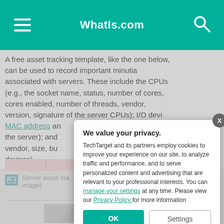WhatIs.com
A free asset tracking template, like the one below, can be used to record important minutia associated with servers. These include the CPUs (e.g., the socket name, status, number of cores, cores enabled, number of threads, vendor, version, signature of the server CPUs); I/O devices (e.g., the MAC address and other details about the server); and memory (e.g., vendor, size, bus type and other details about the devices).
[Figure (screenshot): Partial view of server asset management table with pink highlighted row]
[Figure (photo): Server asset management image (partially visible at bottom)]
We value your privacy.
TechTarget and its partners employ cookies to improve your experience on our site, to analyze traffic and performance, and to serve personalized content and advertising that are relevant to your professional interests. You can manage your settings at any time. Please view our Privacy Policy for more information